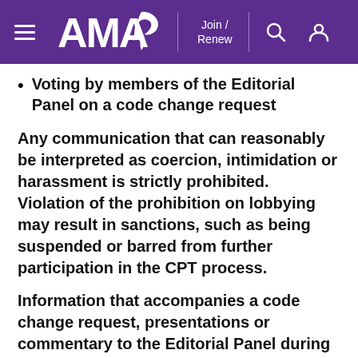AMA — Join / Renew
Voting by members of the Editorial Panel on a code change request
Any communication that can reasonably be interpreted as coercion, intimidation or harassment is strictly prohibited. Violation of the prohibition on lobbying may result in sanctions, such as being suspended or barred from further participation in the CPT process.
Information that accompanies a code change request, presentations or commentary to the Editorial Panel during an open meeting or to a workgroup during a workgroup meeting, and responses to inquiries from a Panel member or a